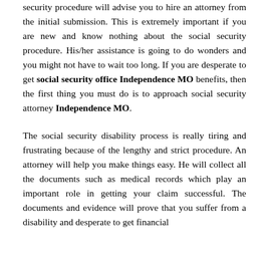security procedure will advise you to hire an attorney from the initial submission. This is extremely important if you are new and know nothing about the social security procedure. His/her assistance is going to do wonders and you might not have to wait too long. If you are desperate to get social security office Independence MO benefits, then the first thing you must do is to approach social security attorney Independence MO.
The social security disability process is really tiring and frustrating because of the lengthy and strict procedure. An attorney will help you make things easy. He will collect all the documents such as medical records which play an important role in getting your claim successful. The documents and evidence will prove that you suffer from a disability and desperate to get financial